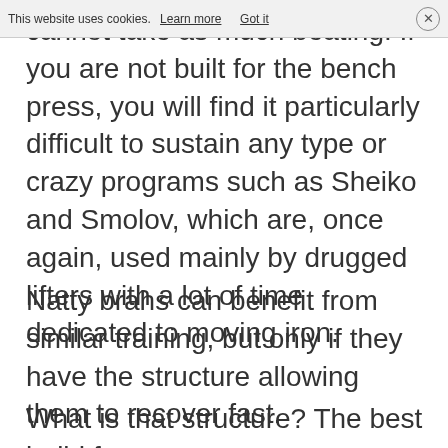This website uses cookies. Learn more  Got it
cannot take as much beating. If you are not built for the bench press, you will find it particularly difficult to sustain any type or crazy programs such as Sheiko and Smolov, which are, once again, used mainly by drugged lifters with a lot of time dedicated to moving iron.
Natty brahs can benefit from similar training, but only if they have the structure allowing them to recover fast.
What is that structure? The best build for